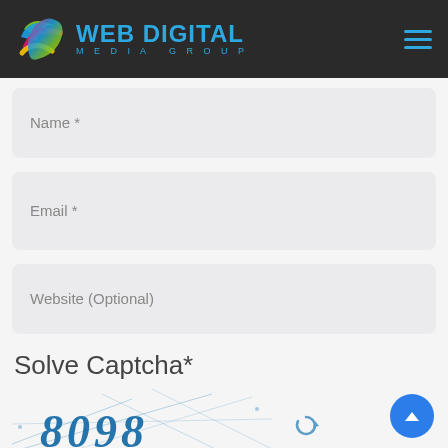[Figure (logo): Web Digital Media Group logo with colorful swirl icon and blue text on dark header background]
Name *
Email *
Website (Optional)
Solve Captcha*
[Figure (other): CAPTCHA image showing the number 8098 in stylized blue serif font with decorative lines and geometric shapes, with a refresh icon]